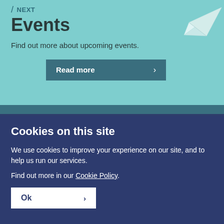/ NEXT
Events
Find out more about upcoming events.
Read more >
Cookies on this site
We use cookies to improve your experience on our site, and to help us run our services.
Find out more in our Cookie Policy.
Ok >